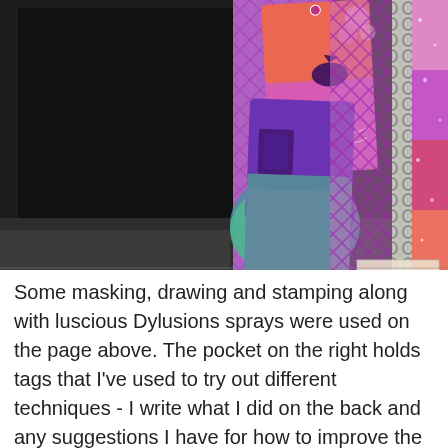[Figure (photo): A photo of art journal pages spread open on a dark surface. The left page is black. The right side shows colorful mixed media pages with a pocket containing decorative tags featuring stamped birds, flowers, and abstract designs in pink, orange, purple, teal and green colors. A diamond-patterned purple strip and spiral binding are visible, along with a glittery pink/orange right panel. A partial white text box with handwritten-style text is visible on the right edge.]
Some masking, drawing and stamping along with luscious Dylusions sprays were used on the page above.  The pocket on the right holds tags that I've used to try out different techniques - I write what I did on the back and any suggestions I have for how to improve the technique the next time.